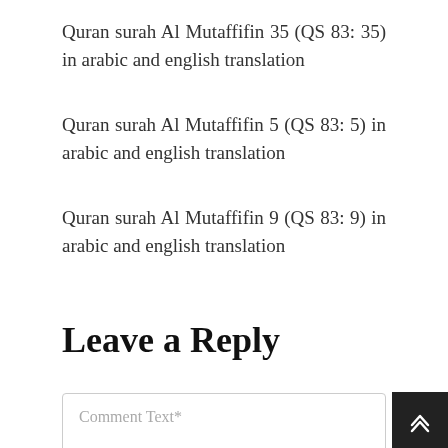Quran surah Al Mutaffifin 35 (QS 83: 35) in arabic and english translation
Quran surah Al Mutaffifin 5 (QS 83: 5) in arabic and english translation
Quran surah Al Mutaffifin 9 (QS 83: 9) in arabic and english translation
Leave a Reply
Comment Text*